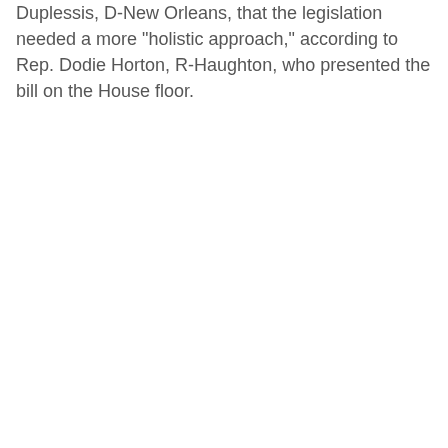Duplessis, D-New Orleans, that the legislation needed a more "holistic approach," according to Rep. Dodie Horton, R-Haughton, who presented the bill on the House floor.